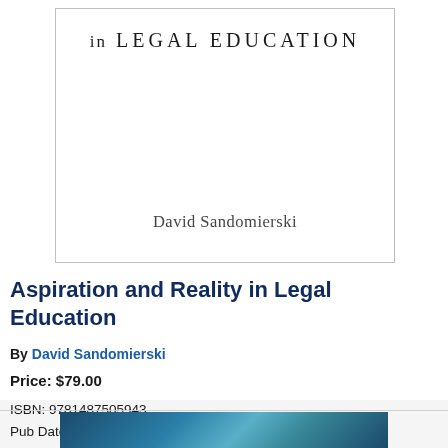[Figure (photo): Book cover for 'Aspiration and Reality in Legal Education' by David Sandomierski. White cover with serif text reading 'in LEGAL EDUCATION' at top and 'David Sandomierski' in the lower portion.]
Aspiration and Reality in Legal Education
By David Sandomierski
Price: $79.00
ISBN: 9781487505943
Pub Date: April 2020
Format: Hardcover
[Figure (photo): Bottom edge of a second book cover, teal/dark blue tones, partially visible.]